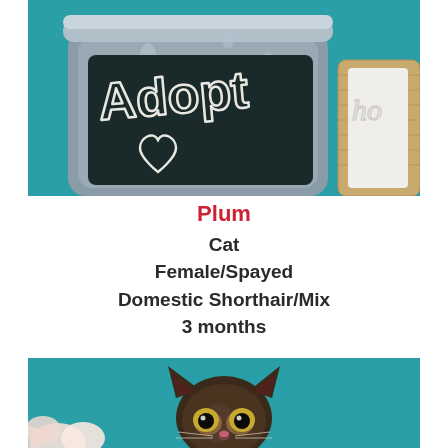[Figure (photo): Close-up photo of a galvanized metal bucket with a black chalkboard label reading 'Adopt' with a hand-drawn heart, on a teal background, with a burlap-wrapped candle partially visible on the right.]
Plum
Cat
Female/Spayed
Domestic Shorthair/Mix
3 months
[Figure (photo): A small dark tortoiseshell kitten peering over the edge of a surface with wide golden eyes, surrounded by light pink flowers, on a teal background.]